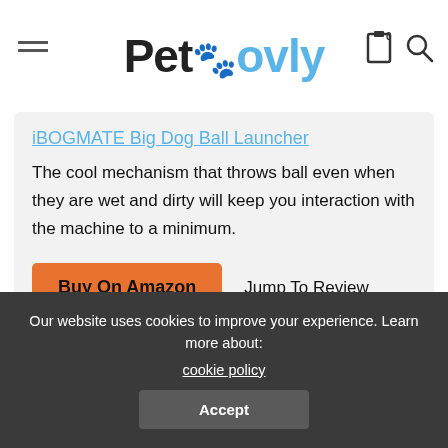Petovly
iBOGMATE Big Dog Ball Launcher
The cool mechanism that throws ball even when they are wet and dirty will keep you interaction with the machine to a minimum.
Buy On Amazon   Jump To Review
BEST 5 ELECTRIC DOG BALL THROWERS
Our website uses cookies to improve your experience. Learn more about: cookie policy
Accept